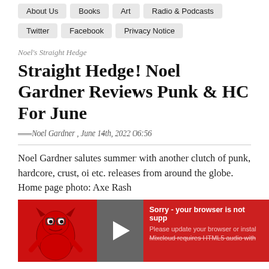About Us | Books | Art | Radio & Podcasts
Twitter
Facebook
Privacy Notice
Noel's Straight Hedge
Straight Hedge! Noel Gardner Reviews Punk & HC For June
— Noel Gardner , June 14th, 2022 06:56
Noel Gardner salutes summer with another clutch of punk, hardcore, crust, oi etc. releases from around the globe. Home page photo: Axe Rash
[Figure (screenshot): Mixcloud audio player widget with red background, devil mascot illustration, play button, and error message: Sorry - your browser is not supported. Please update your browser or install. Mixcloud requires HTML5 audio with...]
Support tQ! Become a subscriber & get access to exclusive essays, podcasts and